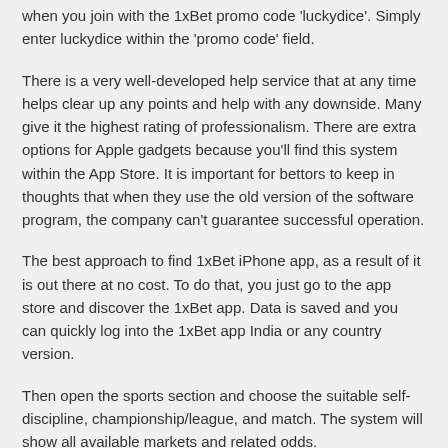when you join with the 1xBet promo code 'luckydice'. Simply enter luckydice within the 'promo code' field.
There is a very well-developed help service that at any time helps clear up any points and help with any downside. Many give it the highest rating of professionalism. There are extra options for Apple gadgets because you'll find this system within the App Store. It is important for bettors to keep in thoughts that when they use the old version of the software program, the company can't guarantee successful operation.
The best approach to find 1xBet iPhone app, as a result of it is out there at no cost. To do that, you just go to the app store and discover the 1xBet app. Data is saved and you can quickly log into the 1xBet app India or any country version.
Then open the sports section and choose the suitable self-discipline, championship/league, and match. The system will show all available markets and related odds.